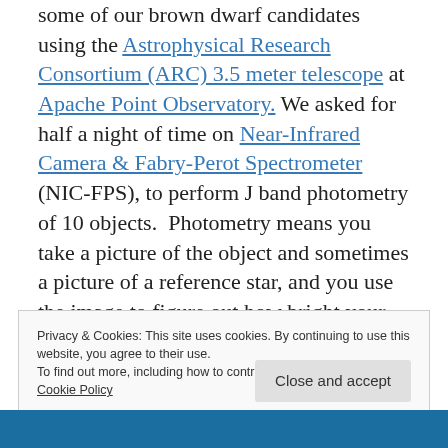some of our brown dwarf candidates using the Astrophysical Research Consortium (ARC) 3.5 meter telescope at Apache Point Observatory. We asked for half a night of time on Near-Infrared Camera & Fabry-Perot Spectrometer (NIC-FPS), to perform J band photometry of 10 objects. Photometry means you take a picture of the object and sometimes a picture of a reference star, and you use the image to figure out how bright your object is. J band corresponds to a wavelength of light of
Privacy & Cookies: This site uses cookies. By continuing to use this website, you agree to their use.
To find out more, including how to control cookies, see here: Cookie Policy
[Figure (photo): Blue image strip at bottom of page, partially visible, appears to be a telescope or observatory image]